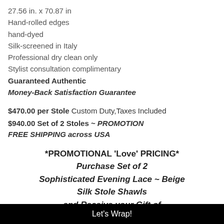27.56 in. x 70.87 in
Hand-rolled edges
hand-dyed
Silk-screened in Italy
Professional dry clean only
Stylist consultation complimentary
Guaranteed Authentic
Money-Back Satisfaction Guarantee
$470.00 per Stole Custom Duty,Taxes Included
$940.00 Set of 2 Stoles ~ PROMOTION
FREE SHIPPING across USA
*PROMOTIONAL 'Love' PRICING* Purchase Set of 2 Sophisticated Evening Lace ~ Beige Silk Stole Shawls and Receive your Gift of
Let's Wrap!